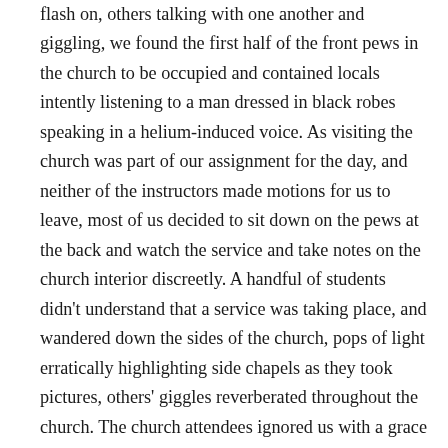flash on, others talking with one another and giggling, we found the first half of the front pews in the church to be occupied and contained locals intently listening to a man dressed in black robes speaking in a helium-induced voice. As visiting the church was part of our assignment for the day, and neither of the instructors made motions for us to leave, most of us decided to sit down on the pews at the back and watch the service and take notes on the church interior discreetly. A handful of students didn't understand that a service was taking place, and wandered down the sides of the church, pops of light erratically highlighting side chapels as they took pictures, others' giggles reverberated throughout the church. The church attendees ignored us with a grace not found in the US, and remained intent on the speaker with the helium voice. They gave us no scathing glances, made no hushing sounds, and didn't so much as twitch. Soon, I began to wonder from where I sat in the back if they were even alive, or if they were perhaps life-like mannequins staring lifelessly at the man speaking who happened to be a priest